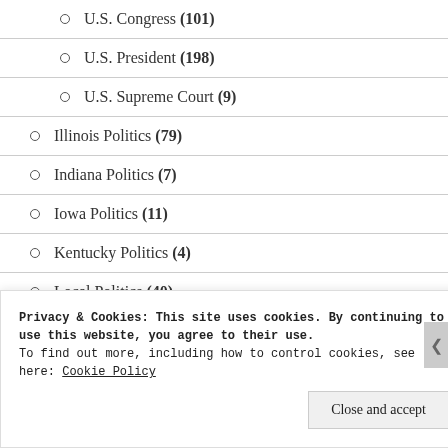U.S. Congress (101)
U.S. President (198)
U.S. Supreme Court (9)
Illinois Politics (79)
Indiana Politics (7)
Iowa Politics (11)
Kentucky Politics (4)
Local Politics (40)
Privacy & Cookies: This site uses cookies. By continuing to use this website, you agree to their use.
To find out more, including how to control cookies, see here: Cookie Policy
Close and accept